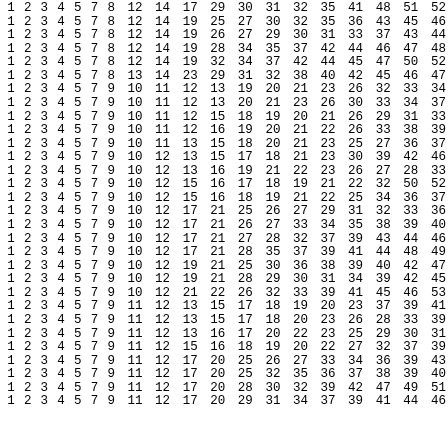| 1 | 2 | 3 | 4 | 5 | 7 | 8 | 12 | 14 | 17 | 29 | 30 | 31 | 32 | 35 | 41 | 48 | 51 | 52 |
| 1 | 2 | 3 | 4 | 5 | 7 | 8 | 12 | 14 | 19 | 25 | 27 | 30 | 32 | 35 | 36 | 43 | 45 | 46 |
| 1 | 2 | 3 | 4 | 5 | 7 | 8 | 12 | 14 | 19 | 26 | 27 | 29 | 30 | 31 | 33 | 37 | 43 | 44 |
| 1 | 2 | 3 | 4 | 5 | 7 | 8 | 12 | 14 | 19 | 28 | 34 | 35 | 37 | 42 | 44 | 46 | 47 | 48 |
| 1 | 2 | 3 | 4 | 5 | 7 | 8 | 12 | 14 | 19 | 32 | 34 | 37 | 42 | 44 | 45 | 47 | 50 | 52 |
| 1 | 2 | 3 | 4 | 5 | 7 | 8 | 13 | 14 | 23 | 29 | 31 | 32 | 38 | 40 | 42 | 45 | 46 | 47 |
| 1 | 2 | 3 | 4 | 5 | 7 | 9 | 10 | 11 | 12 | 13 | 19 | 20 | 21 | 23 | 26 | 32 | 33 | 34 |
| 1 | 2 | 3 | 4 | 5 | 7 | 9 | 10 | 11 | 12 | 13 | 20 | 21 | 23 | 26 | 30 | 33 | 34 | 37 |
| 1 | 2 | 3 | 4 | 5 | 7 | 9 | 10 | 11 | 12 | 15 | 18 | 19 | 20 | 21 | 26 | 29 | 31 | 33 |
| 1 | 2 | 3 | 4 | 5 | 7 | 9 | 10 | 11 | 12 | 16 | 19 | 20 | 21 | 22 | 26 | 33 | 38 | 39 |
| 1 | 2 | 3 | 4 | 5 | 7 | 9 | 10 | 11 | 13 | 15 | 18 | 20 | 21 | 23 | 25 | 27 | 36 | 37 |
| 1 | 2 | 3 | 4 | 5 | 7 | 9 | 10 | 12 | 13 | 15 | 17 | 18 | 21 | 23 | 30 | 39 | 42 | 46 |
| 1 | 2 | 3 | 4 | 5 | 7 | 9 | 10 | 12 | 13 | 16 | 19 | 21 | 22 | 23 | 26 | 27 | 28 | 33 |
| 1 | 2 | 3 | 4 | 5 | 7 | 9 | 10 | 12 | 15 | 16 | 17 | 18 | 19 | 21 | 22 | 32 | 50 | 52 |
| 1 | 2 | 3 | 4 | 5 | 7 | 9 | 10 | 12 | 15 | 16 | 18 | 19 | 21 | 22 | 25 | 34 | 36 | 37 |
| 1 | 2 | 3 | 4 | 5 | 7 | 9 | 10 | 12 | 17 | 21 | 25 | 26 | 27 | 29 | 31 | 32 | 33 | 36 |
| 1 | 2 | 3 | 4 | 5 | 7 | 9 | 10 | 12 | 17 | 21 | 26 | 27 | 33 | 34 | 35 | 38 | 39 | 40 |
| 1 | 2 | 3 | 4 | 5 | 7 | 9 | 10 | 12 | 17 | 21 | 27 | 28 | 32 | 37 | 39 | 43 | 44 | 46 |
| 1 | 2 | 3 | 4 | 5 | 7 | 9 | 10 | 12 | 17 | 21 | 28 | 35 | 37 | 39 | 41 | 44 | 48 | 49 |
| 1 | 2 | 3 | 4 | 5 | 7 | 9 | 10 | 12 | 19 | 21 | 25 | 30 | 36 | 38 | 39 | 40 | 42 | 47 |
| 1 | 2 | 3 | 4 | 5 | 7 | 9 | 10 | 12 | 19 | 21 | 28 | 29 | 30 | 31 | 34 | 39 | 42 | 45 |
| 1 | 2 | 3 | 4 | 5 | 7 | 9 | 10 | 12 | 21 | 22 | 26 | 32 | 33 | 39 | 41 | 45 | 46 | 53 |
| 1 | 2 | 3 | 4 | 5 | 7 | 9 | 11 | 12 | 13 | 15 | 17 | 18 | 19 | 20 | 23 | 37 | 39 | 41 |
| 1 | 2 | 3 | 4 | 5 | 7 | 9 | 11 | 12 | 13 | 15 | 17 | 18 | 20 | 23 | 26 | 28 | 33 | 39 |
| 1 | 2 | 3 | 4 | 5 | 7 | 9 | 11 | 12 | 13 | 16 | 17 | 20 | 22 | 23 | 25 | 29 | 30 | 31 |
| 1 | 2 | 3 | 4 | 5 | 7 | 9 | 11 | 12 | 15 | 16 | 18 | 19 | 20 | 22 | 27 | 32 | 37 | 39 |
| 1 | 2 | 3 | 4 | 5 | 7 | 9 | 11 | 12 | 17 | 20 | 25 | 26 | 27 | 33 | 34 | 36 | 39 | 43 |
| 1 | 2 | 3 | 4 | 5 | 7 | 9 | 11 | 12 | 17 | 20 | 25 | 32 | 35 | 36 | 37 | 38 | 39 | 40 |
| 1 | 2 | 3 | 4 | 5 | 7 | 9 | 11 | 12 | 17 | 20 | 28 | 30 | 32 | 39 | 42 | 47 | 49 | 51 |
| 1 | 2 | 3 | 4 | 5 | 7 | 9 | 11 | 12 | 17 | 20 | 29 | 31 | 34 | 37 | 39 | 41 | 44 | 46 |